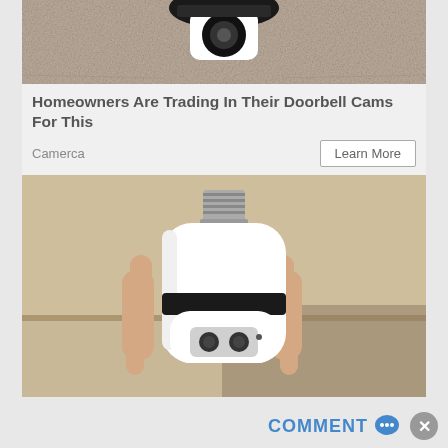[Figure (photo): Top portion of a security camera mounted on a ceiling, showing the device from below with a textured ceiling background]
Homeowners Are Trading In Their Doorbell Cams For This
Camerca
Learn More
[Figure (photo): A hand holding a white light bulb security camera, showing the screw base at top and camera lenses at the bottom of the white bulb body with a black rotating ring]
COMMENT 💬 ✕